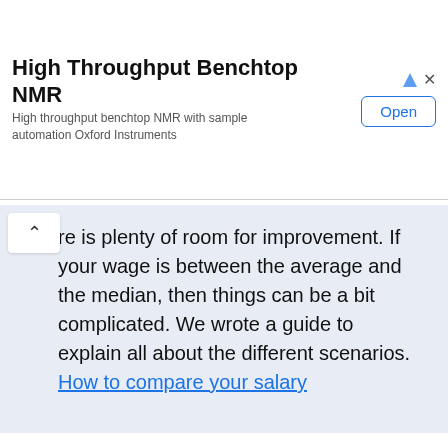[Figure (screenshot): Advertisement banner for High Throughput Benchtop NMR by Oxford Instruments with an Open button]
re is plenty of room for improvement. If your wage is between the average and the median, then things can be a bit complicated. We wrote a guide to explain all about the different scenarios. How to compare your salary